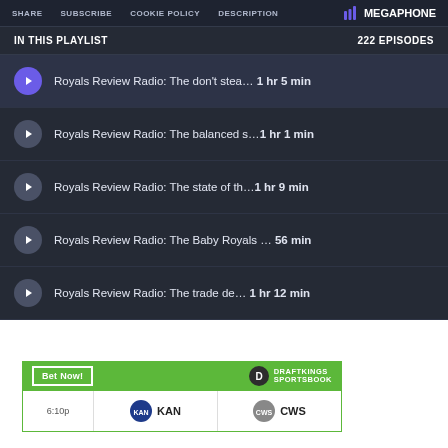SHARE  SUBSCRIBE  COOKIE POLICY  DESCRIPTION  Megaphone
IN THIS PLAYLIST  222 EPISODES
Royals Review Radio: The don't stea…  1 hr 5 min
Royals Review Radio: The balanced s…1 hr 1 min
Royals Review Radio: The state of th…1 hr 9 min
Royals Review Radio: The Baby Royals …  56 min
Royals Review Radio: The trade de…  1 hr 12 min
[Figure (screenshot): DraftKings Sportsbook advertisement banner with Bet Now button, showing KAN vs CWS matchup at 6:10p]